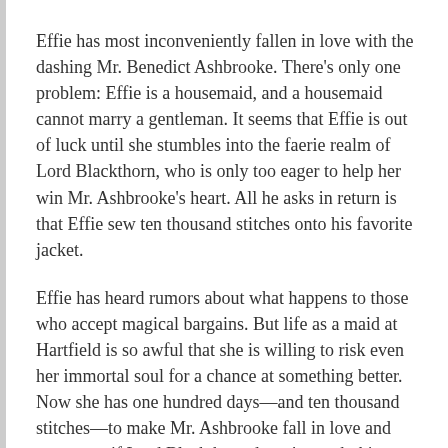Effie has most inconveniently fallen in love with the dashing Mr. Benedict Ashbrooke. There's only one problem: Effie is a housemaid, and a housemaid cannot marry a gentleman. It seems that Effie is out of luck until she stumbles into the faerie realm of Lord Blackthorn, who is only too eager to help her win Mr. Ashbrooke's heart. All he asks in return is that Effie sew ten thousand stitches onto his favorite jacket.
Effie has heard rumors about what happens to those who accept magical bargains. But life as a maid at Hartfield is so awful that she is willing to risk even her immortal soul for a chance at something better. Now she has one hundred days—and ten thousand stitches—to make Mr. Ashbrooke fall in love and propose…if Lord Blackthorn doesn't wreck things by accident, that is. For Effie's greatest obstacle might well be Lord Blackthorn's overwhelmingly good intentions.